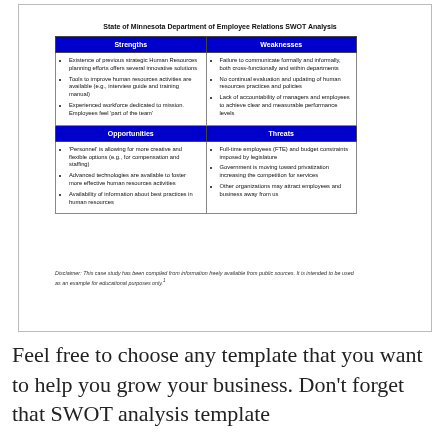SWOT Analysis Examples
State of Minnesota Department of Employee Relations SWOT Analysis
| Strengths | Weaknesses | Opportunities | Threats |
| --- | --- | --- | --- |
| Existence of previous strategic Human Resources planning efforts offers several innovative solutions
Tools to improve human resources activities are available (e.g., interview guide and training manual)
Experienced workforce dedicated to mission. Employees feel 'part of the team' | Failure to communicate formally and informally, both cross-functionally and within departments
No continual evaluation and updating of human resources practices and policies
Lack of accountability of managers and employees to achieve clear and measurable performance levels |
| 'Personnel' is allowing for more creative and flexible options (e.g., for compensation and staffing)
Advanced technologies are available to foster more effective human resources activities
Availability of information about best practices in human resources | Full-time employees (FTE) and budget constraints imposed by legislature
Government is moving toward privatization increasing the competition for services
Other organizations may attract employees and business away from us |
Disclaimer: This case study has been compiled from information freely available from public sources. It is intended to be used as an example for educational purposes only.1
Feel free to choose any template that you want to help you grow your business. Don't forget that SWOT analysis template